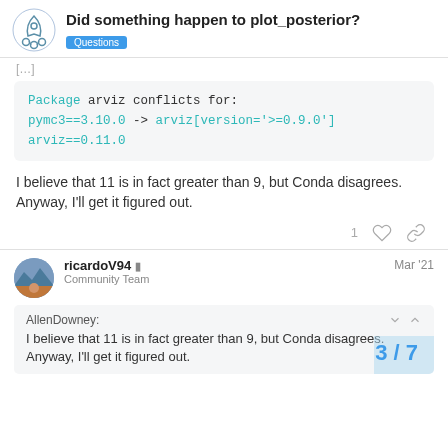Did something happen to plot_posterior? | Questions
[truncated line]
Package arviz conflicts for:
pymc3==3.10.0 -> arviz[version='>=0.9.0']
arviz==0.11.0
I believe that 11 is in fact greater than 9, but Conda disagrees. Anyway, I'll get it figured out.
1 [like] [link]
ricardoV94 🛡 Community Team  Mar '21
AllenDowney:
I believe that 11 is in fact greater than 9, but Conda disagrees. Anyway, I'll get it figured out.
3 / 7